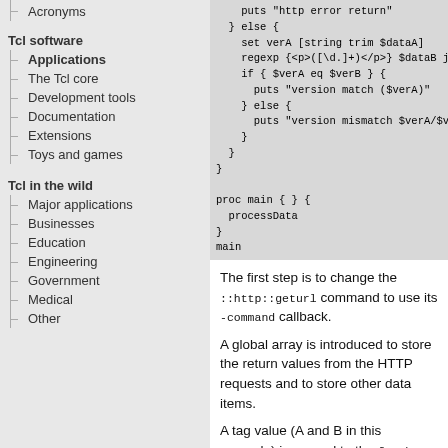Acronyms
Tcl software
Applications
The Tcl core
Development tools
Documentation
Extensions
Toys and games
Tcl in the wild
Major applications
Businesses
Education
Engineering
Government
Medical
Other
[Figure (screenshot): Code block showing Tcl script with proc main, processData, regexp, if/else for version comparison]
The first step is to change the ::http::geturl command to use its -command callback.
A global array is introduced to store the return values from the HTTP requests and to store other data items.
A tag value (A and B in this example) is passed to the fetchURL procedure to indicate under what name the data should be stored.
This tag is passed on to the ::http::geturl -command callback process.